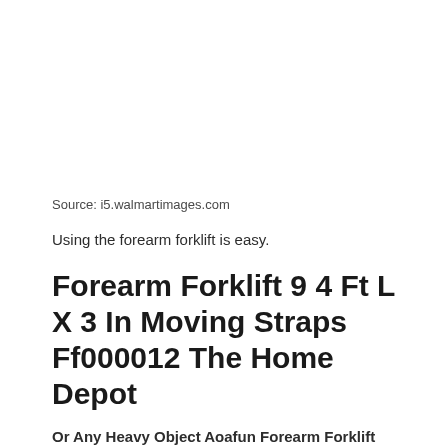Source: i5.walmartimages.com
Using the forearm forklift is easy.
Forearm Forklift 9 4 Ft L X 3 In Moving Straps Ff000012 The Home Depot
Or Any Heavy Object Aoafun Forearm Forklift Lifting Straps Furniture Moving Belt For Lifting Bulky Items Carry And Secure Furniture Easily Move Lift Appliances Mattresses Back Belts. Forearm forklift moving straps provide optimal stability and help